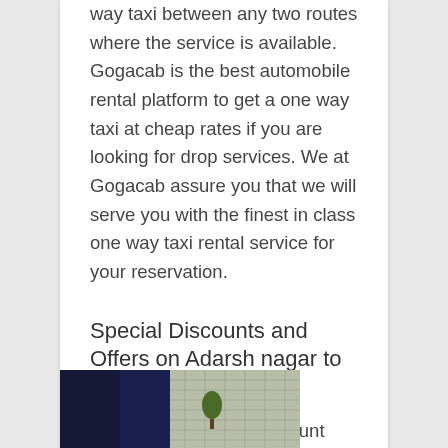way taxi between any two routes where the service is available. Gogacab is the best automobile rental platform to get a one way taxi at cheap rates if you are looking for drop services. We at Gogacab assure you that we will serve you with the finest in class one way taxi rental service for your reservation.
Special Discounts and Offers on Adarsh nagar to Colaba Taxi
You can get ₹50.00 discount while book taxi at gogacab, use coupon code: GOGA50
[Figure (photo): Partial view of a building exterior with dark blue/navy left section and a glass/panel facade on the right with a tree visible]